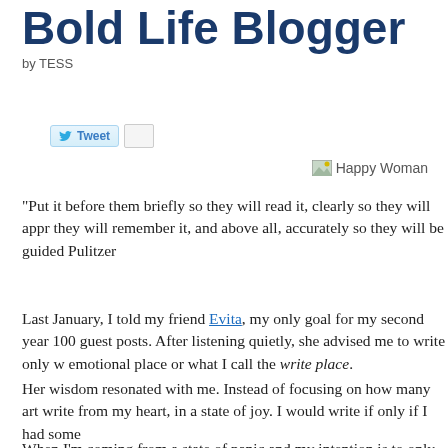Bold Life Blogger
by TESS
[Figure (screenshot): Tweet button and share count widget]
[Figure (photo): Happy Woman image placeholder]
"Put it before them briefly so they will read it, clearly so they will appreciate it, picturesquely so they will remember it, and above all, accurately so they will be guided by its light." - Joseph Pulitzer
Last January, I told my friend Evita, my only goal for my second year of blogging was to write 100 guest posts. After listening quietly, she advised me to write only when I was coming from an emotional place or what I call the write place.
Her wisdom resonated with me. Instead of focusing on how many articles I could write, I would write from my heart, in a state of joy. I would write if only if I had something worthwhile to say.
When I'm coming from a state of panic and my intention is to only increase my blog exposure, guest posting quickly becomes a contest, a competition or a chore. My work loses its authenticity and freshness.